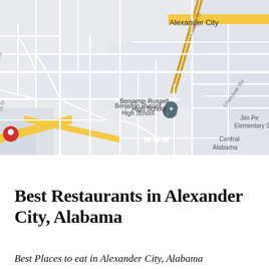[Figure (map): Google Maps view of Alexander City, Alabama showing Benjamin Russell High School, Cherokee Rd, Central Alabama area, Jim Pe Elementary S, Lee St, and a red location pin on the left side. Roads shown in white and yellow on light gray background.]
Best Restaurants in Alexander City, Alabama
Best Places to eat in Alexander City, Alabama